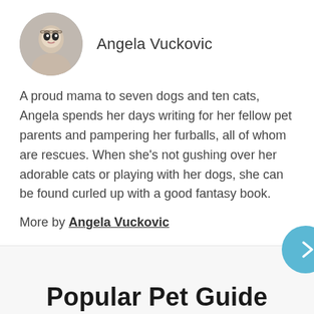[Figure (photo): Circular profile photo of Angela Vuckovic, a woman with glasses]
Angela Vuckovic
A proud mama to seven dogs and ten cats, Angela spends her days writing for her fellow pet parents and pampering her furballs, all of whom are rescues. When she's not gushing over her adorable cats or playing with her dogs, she can be found curled up with a good fantasy book.
More by Angela Vuckovic
Popular Pet Guide